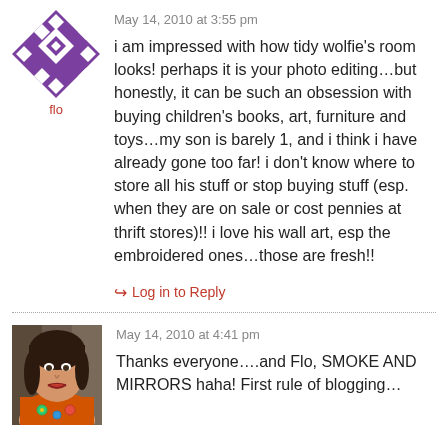[Figure (illustration): Purple and white geometric quilt-pattern avatar for user flo]
flo
May 14, 2010 at 3:55 pm
i am impressed with how tidy wolfie’s room looks! perhaps it is your photo editing…but honestly, it can be such an obsession with buying children’s books, art, furniture and toys…my son is barely 1, and i think i have already gone too far! i don’t know where to store all his stuff or stop buying stuff (esp. when they are on sale or cost pennies at thrift stores)!! i love his wall art, esp the embroidered ones…those are fresh!!
Log in to Reply
[Figure (photo): Photo of a woman with dark hair wearing an orange top with embroidered design]
May 14, 2010 at 4:41 pm
Thanks everyone….and Flo, SMOKE AND MIRRORS haha! First rule of blogging…